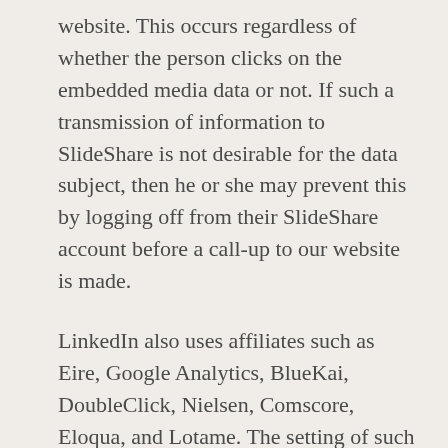website. This occurs regardless of whether the person clicks on the embedded media data or not. If such a transmission of information to SlideShare is not desirable for the data subject, then he or she may prevent this by logging off from their SlideShare account before a call-up to our website is made.
LinkedIn also uses affiliates such as Eire, Google Analytics, BlueKai, DoubleClick, Nielsen, Comscore, Eloqua, and Lotame. The setting of such cookies may be denied under